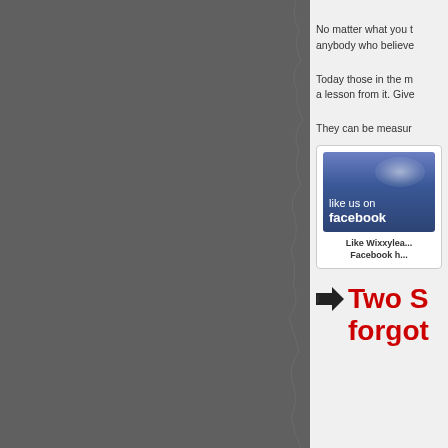[Figure (photo): Dark gray torn paper or textured background on the left two-thirds of the page]
No matter what you t... anybody who believe...
Today those in the m... a lesson from it. Give...
They can be measur...
[Figure (screenshot): Facebook 'like us on facebook' banner widget showing 'Like Wixxylea... Facebook h...']
Two S... forgot...